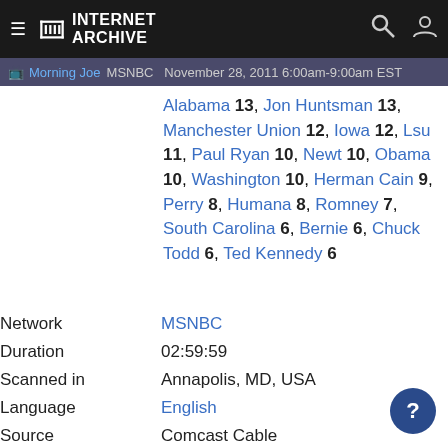Internet Archive - Morning Joe MSNBC November 28, 2011 6:00am-9:00am EST
Alabama 13, Jon Huntsman 13, Manchester Union 12, Iowa 12, Lsu 11, Paul Ryan 10, Newt 10, Obama 10, Washington 10, Herman Cain 9, Perry 8, Humana 8, Romney 7, South Carolina 6, Bernie 6, Chuck Todd 6, Ted Kennedy 6
| Field | Value |
| --- | --- |
| Network | MSNBC |
| Duration | 02:59:59 |
| Scanned in | Annapolis, MD, USA |
| Language | English |
| Source | Comcast Cable |
| Tuner | Port 1235 |
| Video Codec | mpeg2video |
| Audio Cocec | mp2 |
| Pixel width | 720 |
| Pixel height | 480 |